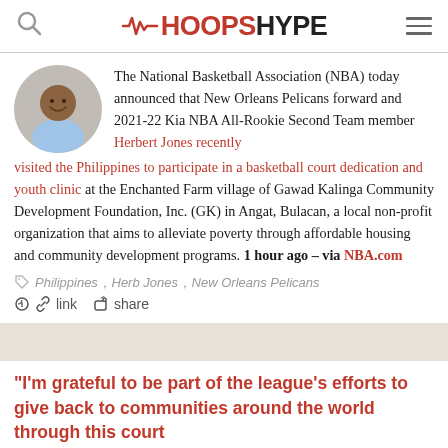HOOPSHYPE
The National Basketball Association (NBA) today announced that New Orleans Pelicans forward and 2021-22 Kia NBA All-Rookie Second Team member Herbert Jones recently visited the Philippines to participate in a basketball court dedication and youth clinic at the Enchanted Farm village of Gawad Kalinga Community Development Foundation, Inc. (GK) in Angat, Bulacan, a local non-profit organization that aims to alleviate poverty through affordable housing and community development programs. 1 hour ago – via NBA.com
Philippines, Herb Jones, New Orleans Pelicans
link   share
"I'm grateful to be part of the league's efforts to give back to communities around the world through this court